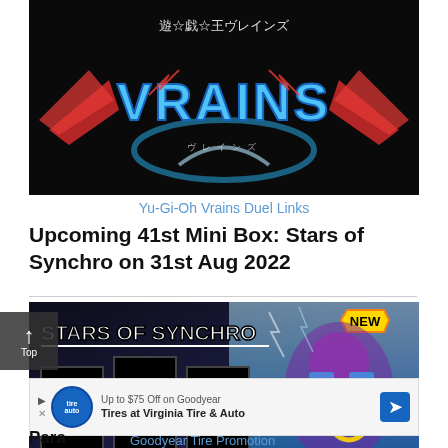[Figure (photo): Yu-Gi-Oh VRAINS logo on black background with blue lightning text and red wings]
Yu-Gi-Oh Vrains Duel Links
Upcoming 41st Mini Box: Stars of Synchro on 31st Aug 2022
[Figure (photo): Stars of Synchro promotional banner showing card pack art with three black card slots and a robot/warrior character on the right with NEW badge]
[Figure (photo): Advertisement banner for Up to $75 Off on Goodyear Tires at Virginia Tire & Auto]
Para...    Goodyear Tire Promotion